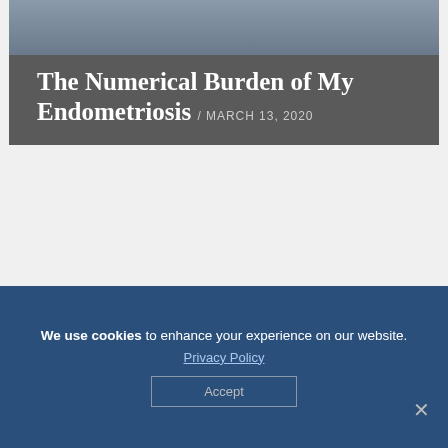The Numerical Burden of My Endometriosis / MARCH 13, 2020
Endometriosis News
[Figure (screenshot): Grid of six images related to endometriosis news: Dachshunds & Duvets blog cover, medical uterus model, Living With Endo logo on yellow, two images of women with abdominal pain, and another Dachshunds & Duvets image.]
We use cookies to enhance your experience on our website.
Privacy Policy
Accept